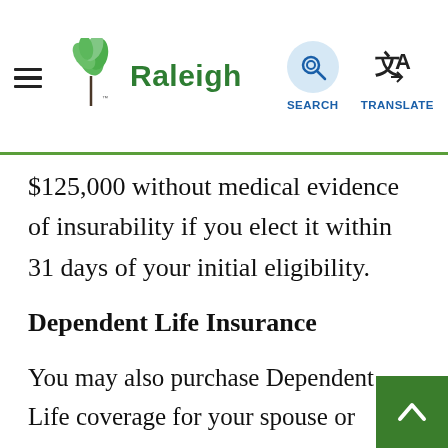Raleigh — navigation bar with Search and Translate options
$125,000 without medical evidence of insurability if you elect it within 31 days of your initial eligibility.
Dependent Life Insurance
You may also purchase Dependent Life coverage for your spouse or dependent children. You may purchase coverage for your dependents in the amount of $2,500 more through payroll deductions.